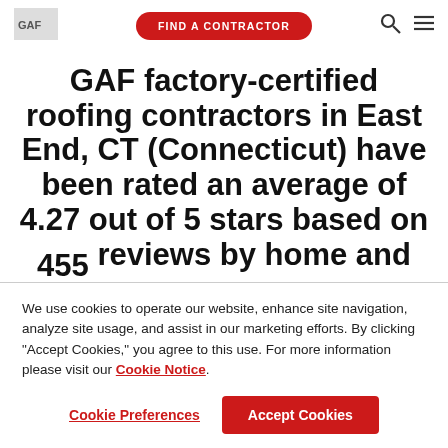GAF | FIND A CONTRACTOR
GAF factory-certified roofing contractors in East End, CT (Connecticut) have been rated an average of 4.27 out of 5 stars based on 455 reviews by home and
We use cookies to operate our website, enhance site navigation, analyze site usage, and assist in our marketing efforts. By clicking "Accept Cookies," you agree to this use. For more information please visit our Cookie Notice.
Cookie Preferences
Accept Cookies